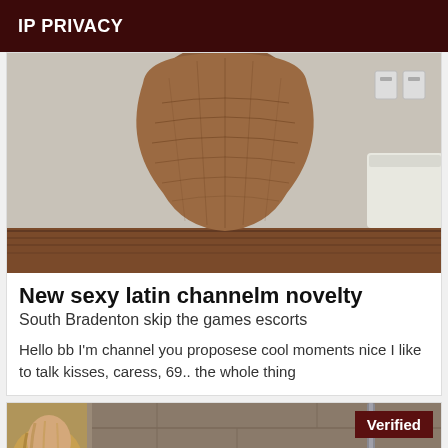IP PRIVACY
[Figure (photo): Photo of a woven/knitted decorative object shaped like a vase or gourd, in brown tones, on a wooden floor with a bed visible in the background]
New sexy latin channelm novelty
South Bradenton skip the games escorts
Hello bb I'm channel you proposese cool moments nice I like to talk kisses, caress, 69.. the whole thing
[Figure (photo): Partial photo of a person with light hair, with a Verified badge overlay in the upper right]
Verified